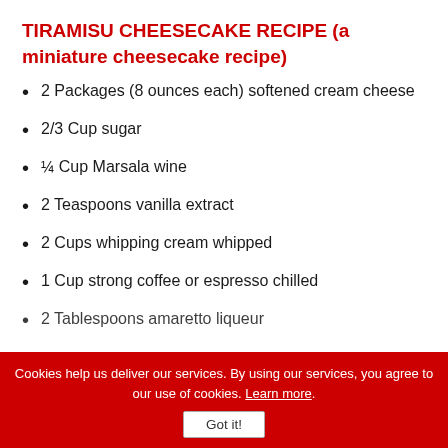TIRAMISU CHEESECAKE RECIPE (a miniature cheesecake recipe)
2 Packages (8 ounces each) softened cream cheese
2/3 Cup sugar
¼ Cup Marsala wine
2 Teaspoons vanilla extract
2 Cups whipping cream whipped
1 Cup strong coffee or espresso chilled
2 Tablespoons amaretto liqueur
Cookies help us deliver our services. By using our services, you agree to our use of cookies. Learn more.
Got it!